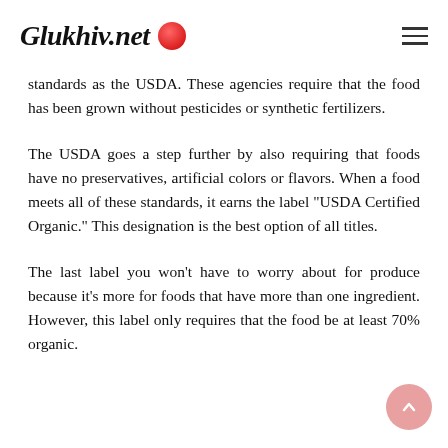Glukhiv.net
standards as the USDA. These agencies require that the food has been grown without pesticides or synthetic fertilizers.
The USDA goes a step further by also requiring that foods have no preservatives, artificial colors or flavors. When a food meets all of these standards, it earns the label "USDA Certified Organic." This designation is the best option of all titles.
The last label you won't have to worry about for produce because it's more for foods that have more than one ingredient. However, this label only requires that the food be at least 70% organic.